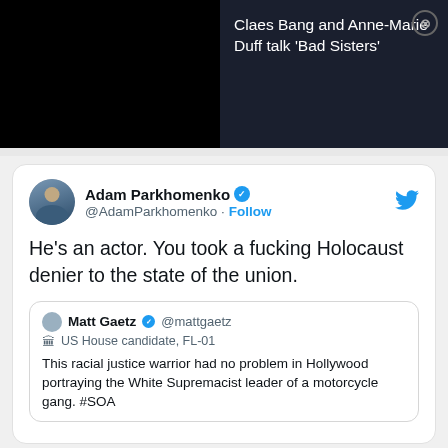[Figure (screenshot): Dark banner with black video preview on left and text 'Claes Bang and Anne-Marie Duff talk Bad Sisters' on right with close button]
Adam Parkhomenko @AdamParkhomenko · Follow
He's an actor. You took a fucking Holocaust denier to the state of the union.
Matt Gaetz @mattgaetz
US House candidate, FL-01
This racial justice warrior had no problem in Hollywood portraying the White Supremacist leader of a motorcycle gang. #SOA